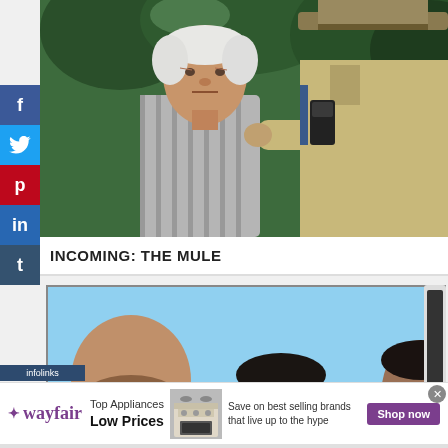[Figure (photo): Movie still showing an elderly man in a striped polo shirt facing a person in a law enforcement uniform with a wide-brimmed hat, outdoor setting with green foliage background]
INCOMING: THE MULE
[Figure (photo): Movie still with blue background showing three bald or dark-haired figures, appears to be a scene from a film]
[Figure (other): Wayfair advertisement banner: Top Appliances Low Prices, Save on best selling brands that live up to the hype, Shop now button, stove/range appliance image]